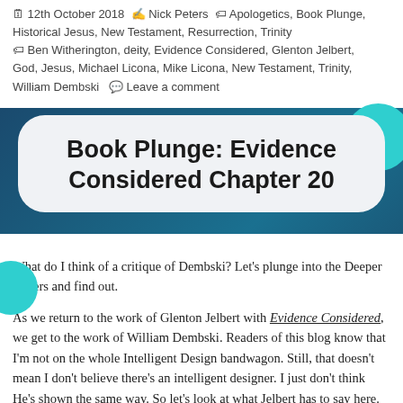12th October 2018 • Nick Peters • Apologetics, Book Plunge, Historical Jesus, New Testament, Resurrection, Trinity • Ben Witherington, deity, Evidence Considered, Glenton Jelbert, God, Jesus, Michael Licona, Mike Licona, New Testament, Trinity, William Dembski • Leave a comment
Book Plunge: Evidence Considered Chapter 20
What do I think of a critique of Dembski? Let's plunge into the Deeper Waters and find out.
As we return to the work of Glenton Jelbert with Evidence Considered, we get to the work of William Dembski. Readers of this blog know that I'm not on the whole Intelligent Design bandwagon. Still, that doesn't mean I don't believe there's an intelligent designer. I just don't think He's shown the same way. So let's look at what Jelbert has to say here.